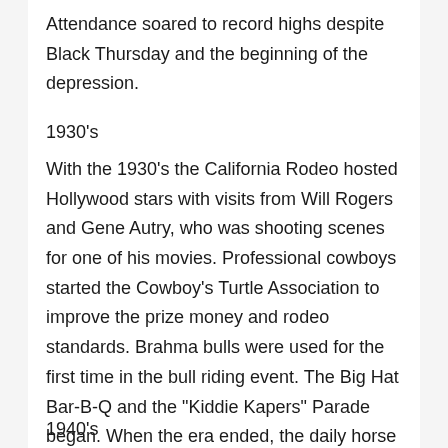Attendance soared to record highs despite Black Thursday and the beginning of the depression.
1930's
With the 1930's the California Rodeo hosted Hollywood stars with visits from Will Rogers and Gene Autry, who was shooting scenes for one of his movies. Professional cowboys started the Cowboy's Turtle Association to improve the prize money and rodeo standards. Brahma bulls were used for the first time in the bull riding event. The Big Hat Bar-B-Q and the "Kiddie Kapers" Parade began. When the era ended, the daily horse parade had nearly 1,000 horses.
1940's